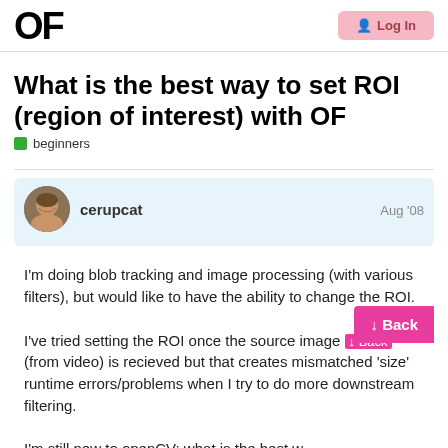OF | Log In
What is the best way to set ROI (region of interest) with OF
beginners
cerupcat   Aug '08
I'm doing blob tracking and image processing (with various filters), but would like to have the ability to change the ROI.
I've tried setting the ROI once the source image (from video) is recieved but that creates mismatched 'size' runtime errors/problems when I try to do more downstream filtering.
I'm still new to openCV; what is the best w
Back
1 / 18